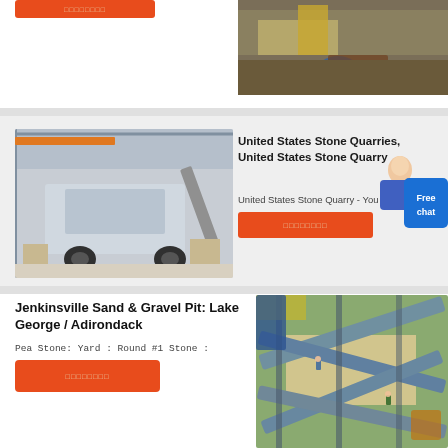[Figure (photo): Industrial quarry/mining machinery photo at top left — orange button visible]
[Figure (photo): Quarry conveyor/screening machinery photo at top right]
[Figure (photo): Mobile stone crushing plant in industrial hall at middle left]
United States Stone Quarries, United States Stone Quarry
United States Stone Quarry - You
□□□□□□□□ (orange button)
[Figure (photo): Free chat button with avatar]
Jenkinsville Sand & Gravel Pit: Lake George / Adirondack
Pea Stone: Yard : Round #1 Stone :
□□□□□□□□ (orange button)
[Figure (photo): Aerial view of conveyor belts at a gravel/sand processing plant]